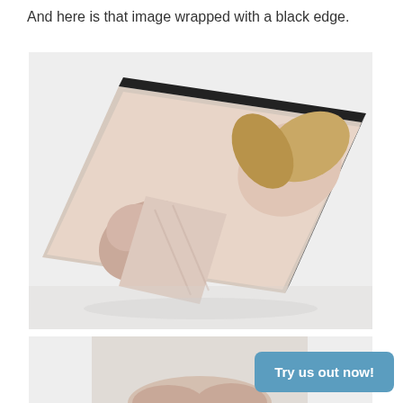And here is that image wrapped with a black edge.
[Figure (photo): A canvas print with black edge wrap lying on a flat surface, showing a mother and newborn baby photograph printed on it, photographed at an angle to show the thick black sides of the canvas.]
[Figure (photo): Partial view of another photo print, showing what appears to be a person's hands, partially visible at the bottom of the page.]
Try us out now!